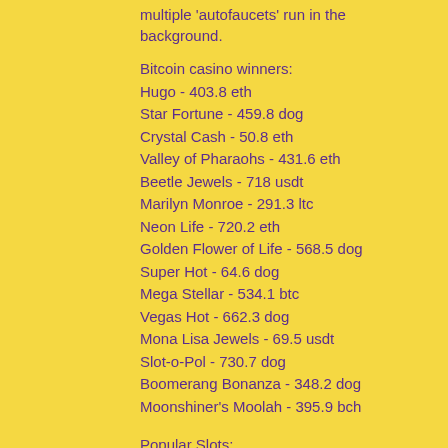multiple 'autofaucets' run in the background.
Bitcoin casino winners:
Hugo - 403.8 eth
Star Fortune - 459.8 dog
Crystal Cash - 50.8 eth
Valley of Pharaohs - 431.6 eth
Beetle Jewels - 718 usdt
Marilyn Monroe - 291.3 ltc
Neon Life - 720.2 eth
Golden Flower of Life - 568.5 dog
Super Hot - 64.6 dog
Mega Stellar - 534.1 btc
Vegas Hot - 662.3 dog
Mona Lisa Jewels - 69.5 usdt
Slot-o-Pol - 730.7 dog
Boomerang Bonanza - 348.2 dog
Moonshiner's Moolah - 395.9 bch
Popular Slots: